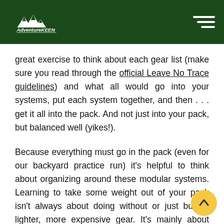AdventureKEEN
great exercise to think about each gear list (make sure you read through the official Leave No Trace guidelines) and what all would go into your systems, put each system together, and then . . . get it all into the pack. And not just into your pack, but balanced well (yikes!).
Because everything must go in the pack (even for our backyard practice run) it's helpful to think about organizing around these modular systems. Learning to take some weight out of your pack isn't always about doing without or just buying lighter, more expensive gear. It's mainly about being smarter and prepared in a way you don't have to be when you're just throwing everything into the backpack.